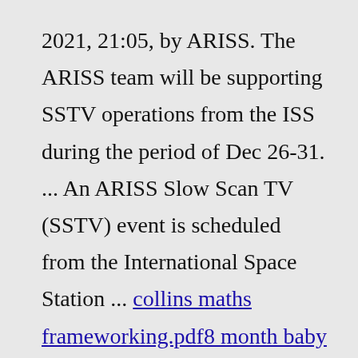2021, 21:05, by ARISS. The ARISS team will be supporting SSTV operations from the ISS during the period of Dec 26-31. ... An ARISS Slow Scan TV (SSTV) event is scheduled from the International Space Station ... collins maths frameworking.pdf8 month baby boy hairstylesvintage land cruiser for sale francistownextra large rugs for living room ost